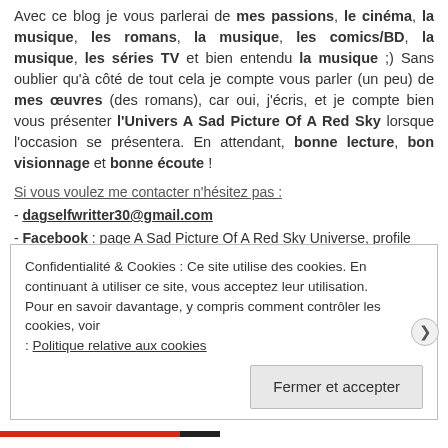Avec ce blog je vous parlerai de mes passions, le cinéma, la musique, les romans, la musique, les comics/BD, la musique, les séries TV et bien entendu la musique ;) Sans oublier qu'à côté de tout cela je compte vous parler (un peu) de mes œuvres (des romans), car oui, j'écris, et je compte bien vous présenter l'Univers A Sad Picture Of A Red Sky lorsque l'occasion se présentera. En attendant, bonne lecture, bon visionnage et bonne écoute !
Si vous voulez me contacter n'hésitez pas :
- dagselfwritter30@gmail.com
- Facebook : page A Sad Picture Of A Red Sky Universe, profile D.a. Green
- Twitter : DesmondGreen6
- Tumblr : desmondaq.tumblr.com
Confidentialité & Cookies : Ce site utilise des cookies. En continuant à utiliser ce site, vous acceptez leur utilisation. Pour en savoir davantage, y compris comment contrôler les cookies, voir : Politique relative aux cookies
Fermer et accepter